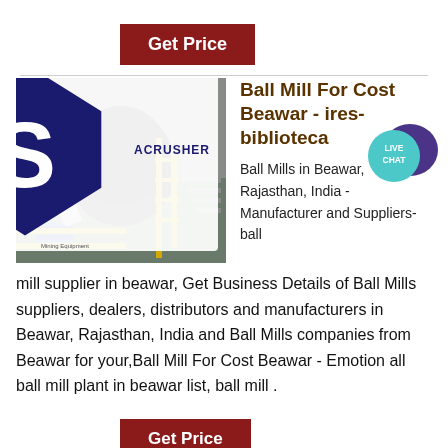[Figure (other): Get Price button (dark red/maroon button with white text)]
[Figure (other): Live Chat bubble — teal circle with white text LIVE CHAT and dark purple speech bubble icon]
[Figure (photo): Industrial ball mill machinery photo with ACRUSHER Mining Equipment logo overlay]
Ball Mill For Cost Beawar - ires-biblioteca
Ball Mills in Beawar, Rajasthan, India - Manufacturer and Suppliers- ball mill supplier in beawar, Get Business Details of Ball Mills suppliers, dealers, distributors and manufacturers in Beawar, Rajasthan, India and Ball Mills companies from Beawar for your,Ball Mill For Cost Beawar - Emotion all ball mill plant in beawar list, ball mill .
[Figure (other): Get Price button (dark red/maroon button with white text) at bottom]